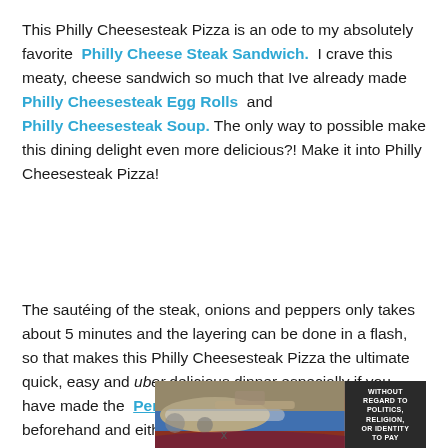This Philly Cheesesteak Pizza is an ode to my absolutely favorite Philly Cheese Steak Sandwich. I crave this meaty, cheese sandwich so much that Ive already made Philly Cheesesteak Egg Rolls and Philly Cheesesteak Soup. The only way to possible make this dining delight even more delicious?! Make it into Philly Cheesesteak Pizza!
The sautéing of the steak, onions and peppers only takes about 5 minutes and the layering can be done in a flash, so that makes this Philly Cheesesteak Pizza the ultimate quick, easy and uber delicious dinner especially if you have made the Perfect Homemade Pizza Crust beforehand and either
[Figure (photo): Advertisement banner showing an airplane with cargo being loaded, with text 'WITHOUT REGARD TO POLITICS, RELIGION, OR IDENTITY TO PAY' on a dark background on the right side.]
x